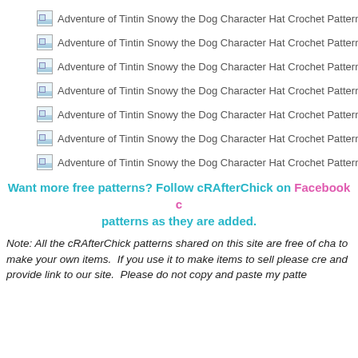[Figure (photo): Adventure of Tintin Snowy the Dog Character Hat Crochet Pattern - image 1]
[Figure (photo): Adventure of Tintin Snowy the Dog Character Hat Crochet Pattern - image 2]
[Figure (photo): Adventure of Tintin Snowy the Dog Character Hat Crochet Pattern - image 3]
[Figure (photo): Adventure of Tintin Snowy the Dog Character Hat Crochet Pattern - image 4]
[Figure (photo): Adventure of Tintin Snowy the Dog Character Hat Crochet Pattern - image 5]
[Figure (photo): Adventure of Tintin Snowy the Dog Character Hat Crochet Pattern - image 6]
[Figure (photo): Adventure of Tintin Snowy the Dog Character Hat Crochet Pattern - image 7]
Want more free patterns? Follow cRAfterChick on Facebook c patterns as they are added.
Note: All the cRAfterChick patterns shared on this site are free of cha to make your own items.  If you use it to make items to sell please cre and provide link to our site.  Please do not copy and paste my patte